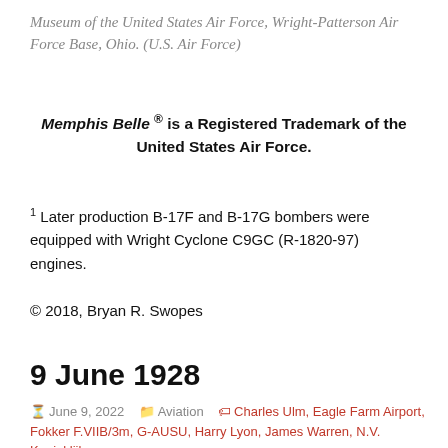Museum of the United States Air Force, Wright-Patterson Air Force Base, Ohio. (U.S. Air Force)
Memphis Belle ® is a Registered Trademark of the United States Air Force.
1 Later production B-17F and B-17G bombers were equipped with Wright Cyclone C9GC (R-1820-97) engines.
© 2018, Bryan R. Swopes
9 June 1928
June 9, 2022   Aviation   Charles Ulm, Eagle Farm Airport, Fokker F.VIIB/3m, G-AUSU, Harry Lyon, James Warren, N.V. Koninklijke Nederlandse Vliegtuigenfabriek Fokker, NC1985, Sir Charles Edward